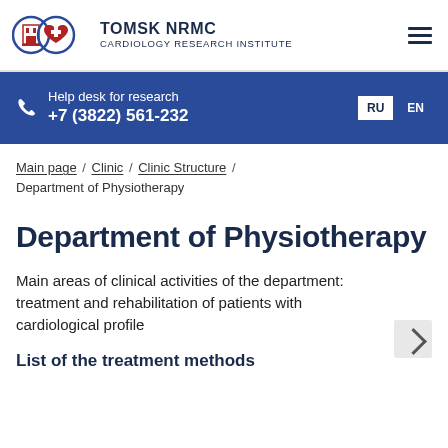TOMSK NRMC CARDIOLOGY RESEARCH INSTITUTE
Help desk for research +7 (3822) 561-232
Main page / Clinic / Clinic Structure / Department of Physiotherapy
Department of Physiotherapy
Main areas of clinical activities of the department: treatment and rehabilitation of patients with cardiological profile
List of the treatment methods